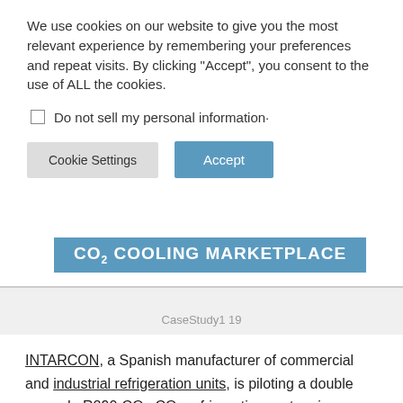We use cookies on our website to give you the most relevant experience by remembering your preferences and repeat visits. By clicking "Accept", you consent to the use of ALL the cookies.
Do not sell my personal information·
Cookie Settings | Accept
[Figure (logo): CO2 COOLING MARKETPLACE logo on blue background]
CaseStudy1 19
INTARCON, a Spanish manufacturer of commercial and industrial refrigeration units, is piloting a double cascade R290-CO2-CO2 refrigeration system in an installation in Cordoba, southern Spain.